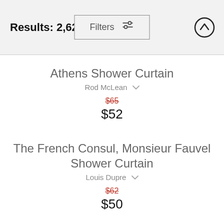Results: 2,621
Filters
Athens Shower Curtain
Rod McLean
$65
$52
The French Consul, Monsieur Fauvel Shower Curtain
Louis Dupre
$62
$50